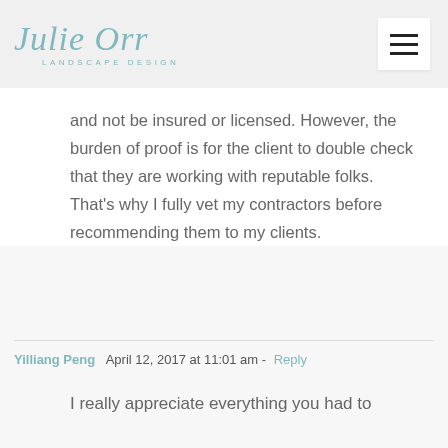Julie Orr Landscape Design
and not be insured or licensed. However, the burden of proof is for the client to double check that they are working with reputable folks. That’s why I fully vet my contractors before recommending them to my clients.
Yilliang Peng  April 12, 2017 at 11:01 am - Reply
I really appreciate everything you had to